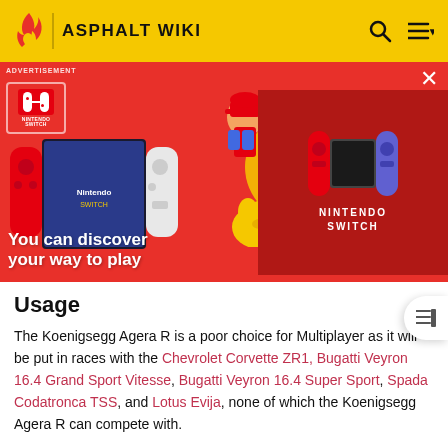ASPHALT WIKI
[Figure (infographic): Nintendo Switch advertisement banner with Mario, Kirby, Isabelle characters on red background. Text reads 'You can discover your way to play'. Nintendo Switch logo on right side.]
Usage
The Koenigsegg Agera R is a poor choice for Multiplayer as it will be put in races with the Chevrolet Corvette ZR1, Bugatti Veyron 16.4 Grand Sport Vitesse, Bugatti Veyron 16.4 Super Sport, Spada Codatronca TSS, and Lotus Evija, none of which the Koenigsegg Agera R can compete with.
The Koenigsegg Agera R is featured in three races in Season 8 Career Mode, the first is a Versus race